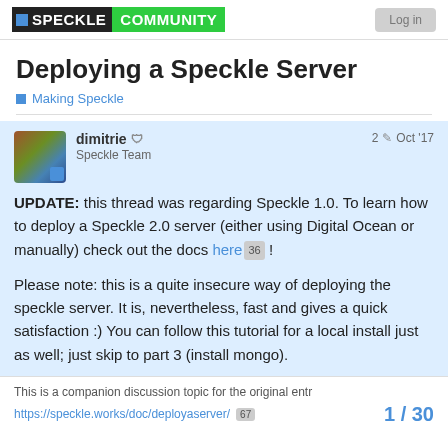SPECKLE COMMUNITY
Deploying a Speckle Server
Making Speckle
dimitrie  Speckle Team  2  Oct '17
UPDATE: this thread was regarding Speckle 1.0. To learn how to deploy a Speckle 2.0 server (either using Digital Ocean or manually) check out the docs here 36 !

Please note: this is a quite insecure way of deploying the speckle server. It is, nevertheless, fast and gives a quick satisfaction :) You can follow this tutorial for a local install just as well; just skip to part 3 (install mongo).
This is a companion discussion topic for the original entr
https://speckle.works/doc/deployaserver/ 67
1 / 30